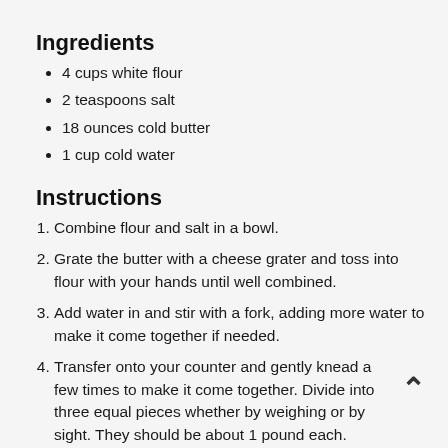Ingredients
4 cups white flour
2 teaspoons salt
18 ounces cold butter
1 cup cold water
Instructions
Combine flour and salt in a bowl.
Grate the butter with a cheese grater and toss into flour with your hands until well combined.
Add water in and stir with a fork, adding more water to make it come together if needed.
Transfer onto your counter and gently knead a few times to make it come together. Divide into three equal pieces whether by weighing or by sight. They should be about 1 pound each.
Take one ball and roll into a roughly 6"x 12" rectangle. Don't worry about it being super pretty but it helps in the